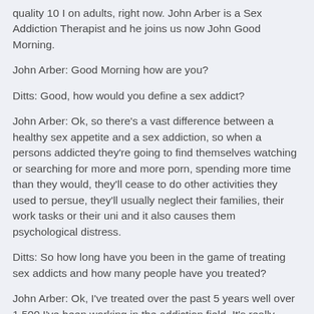quality 10 I on adults, right now. John Arber is a Sex Addiction Therapist and he joins us now John Good Morning.
John Arber: Good Morning how are you?
Ditts: Good, how would you define a sex addict?
John Arber: Ok, so there's a vast difference between a healthy sex appetite and a sex addiction, so when a persons addicted they're going to find themselves watching or searching for more and more porn, spending more time than they would, they'll cease to do other activities they used to persue, they'll usually neglect their families, their work tasks or their uni and it also causes them psychological distress.
Ditts: So how long have you been in the game of treating sex addicts and how many people have you treated?
John Arber: Ok, I've treated over the past 5 years well over 1,500 I've been working in the addiction field. It's really popular in America they had 62 million visits to its...